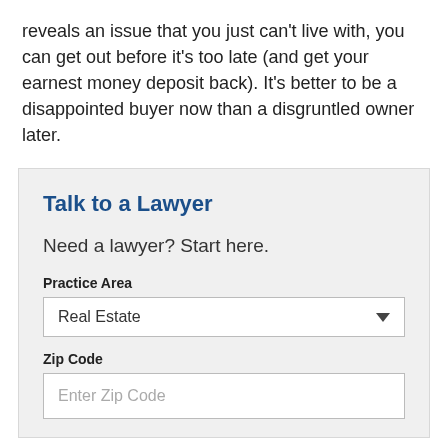reveals an issue that you just can't live with, you can get out before it's too late (and get your earnest money deposit back). It's better to be a disappointed buyer now than a disgruntled owner later.
Talk to a Lawyer
Need a lawyer? Start here.
Practice Area
Real Estate
Zip Code
Enter Zip Code